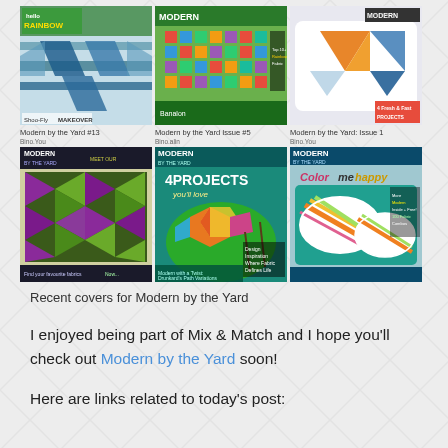[Figure (other): Grid of 6 magazine covers for 'Modern by the Yard', arranged in 2 rows of 3. Top row: Issue #13 (rainbow/diagonal quilt), Issue #5 (colorful grid pattern), Issue 1 (geometric triangles on pillow). Bottom row: Issue with green/purple geometric quilt, Issue with teal background 4 projects, Issue 'Color me happy' with striped pillows.]
Recent covers for Modern by the Yard
I enjoyed being part of Mix & Match and I hope you'll check out Modern by the Yard soon!
Here are links related to today's post: